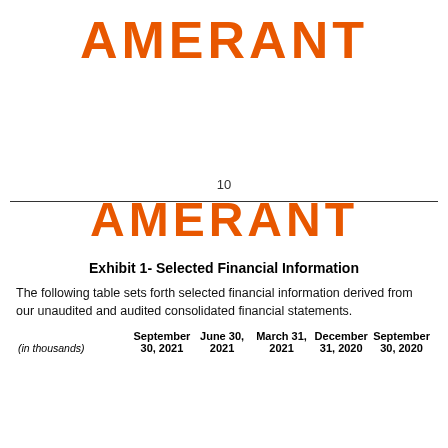[Figure (logo): AMERANT logo in orange at top of page]
10
[Figure (logo): AMERANT logo in orange at bottom section]
Exhibit 1- Selected Financial Information
The following table sets forth selected financial information derived from our unaudited and audited consolidated financial statements.
| (in thousands) | September 30, 2021 | June 30, 2021 | March 31, 2021 | December 31, 2020 | September 30, 2020 |
| --- | --- | --- | --- | --- | --- |